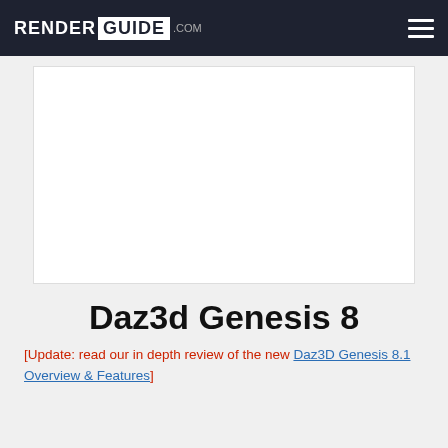RENDER GUIDE .com
[Figure (other): White advertisement box placeholder]
Daz3d Genesis 8
[Update: read our in depth review of the new Daz3D Genesis 8.1 Overview & Features]